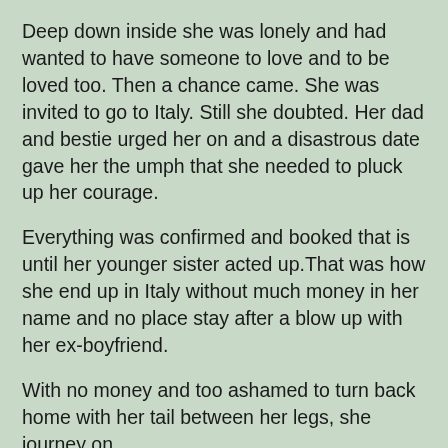Deep down inside she was lonely and had wanted to have someone to love and to be loved too. Then a chance came. She was invited to go to Italy. Still she doubted. Her dad and bestie urged her on and a disastrous date gave her the umph that she needed to pluck up her courage.
Everything was confirmed and booked that is until her younger sister acted up.That was how she end up in Italy without much money in her name and no place stay after a blow up with her ex-boyfriend.
With no money and too ashamed to turn back home with her tail between her legs, she journey on.
It was a fun adventure reading this book. It gives a fresh and happier outlook in life. Gives hope that there are still some people out that who truly cares about you instead of just using you. And that all broken heart can be mended. And that bad things that happen are actually a blessing in disguise.
Yes, this is a good book to read when you are feeling down.